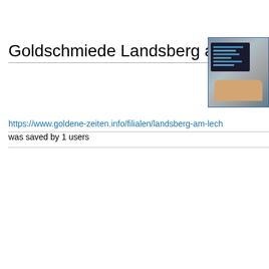Goldschmiede Landsberg am Lech
[Figure (photo): Thumbnail image of a person typing on a laptop, shown from above, with code/text visible on the screen.]
https://www.goldene-zeiten.info/filialen/landsberg-am-lech
was saved by 1 users